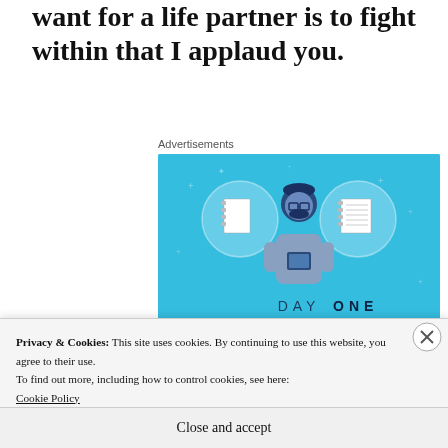...want for a life partner is to fight within that I applaud you.
Advertisements
[Figure (illustration): Day One journaling app advertisement on a blue background featuring a person holding a phone with notebook icons in circles above, text 'DAY ONE - The only journaling app you'll ever need.' and a call-to-action button.]
Privacy & Cookies: This site uses cookies. By continuing to use this website, you agree to their use.
To find out more, including how to control cookies, see here:
Cookie Policy
Close and accept